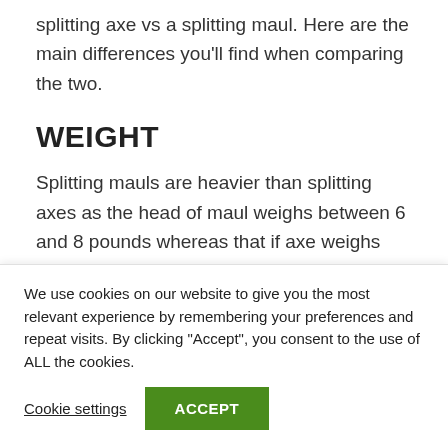splitting axe vs a splitting maul. Here are the main differences you'll find when comparing the two.
WEIGHT
Splitting mauls are heavier than splitting axes as the head of maul weighs between 6 and 8 pounds whereas that if axe weighs between 3 and 6 pounds. The
We use cookies on our website to give you the most relevant experience by remembering your preferences and repeat visits. By clicking “Accept”, you consent to the use of ALL the cookies.
Cookie settings
ACCEPT